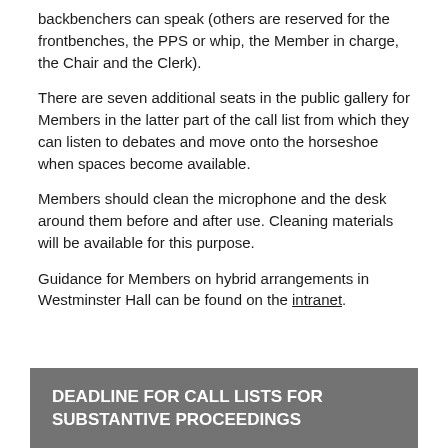backbenchers can speak (others are reserved for the frontbenches, the PPS or whip, the Member in charge, the Chair and the Clerk).
There are seven additional seats in the public gallery for Members in the latter part of the call list from which they can listen to debates and move onto the horseshoe when spaces become available.
Members should clean the microphone and the desk around them before and after use. Cleaning materials will be available for this purpose.
Guidance for Members on hybrid arrangements in Westminster Hall can be found on the intranet.
DEADLINE FOR CALL LISTS FOR SUBSTANTIVE PROCEEDINGS